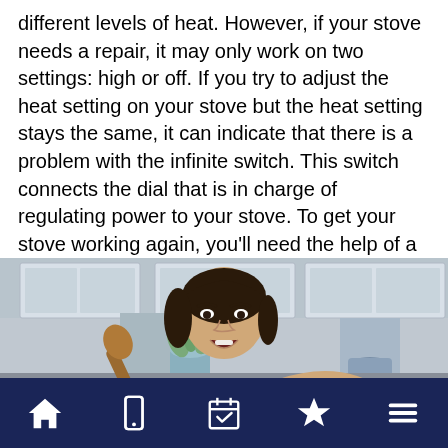different levels of heat. However, if your stove needs a repair, it may only work on two settings: high or off. If you try to adjust the heat setting on your stove but the heat setting stays the same, it can indicate that there is a problem with the infinite switch. This switch connects the dial that is in charge of regulating power to your stove. To get your stove working again, you'll need the help of a Spring, Texas, stove repair technician.
[Figure (photo): A frustrated woman in a dark apron holding a wooden spoon, looking down with an open mouth expression, in a kitchen setting.]
Navigation bar with home, phone, calendar/checklist, star, and menu icons